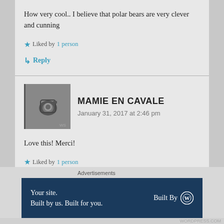How very cool.. I believe that polar bears are very clever and cunning
Liked by 1 person
↳ Reply
MAMIE EN CAVALE
January 31, 2017 at 2:46 pm
Love this! Merci!
Liked by 1 person
↳ Reply
Advertisements
Your site. Built by us. Built for you.   Built By [WordPress logo]